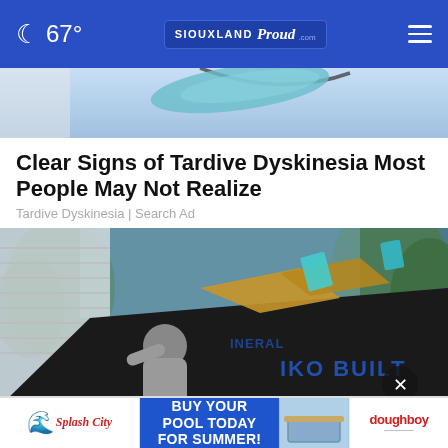67° | SIOUXLAND Proud
[Figure (photo): Partial top of an advertisement image showing a blue-toned background]
Clear Signs of Tardive Dyskinesia Most People May Not Realize
Tardive Dyskinesia | Search Ad
[Figure (photo): Photo of a worker installing/removing roofing shingles on a residential roof. Black underlayment visible with IKO Built branding. Worker in gray hoodie kneeling on the roof with tools.]
[Figure (screenshot): Advertisement banner: Splash City / Buy Your Pool Today For Summer! / doughboy brand logos]